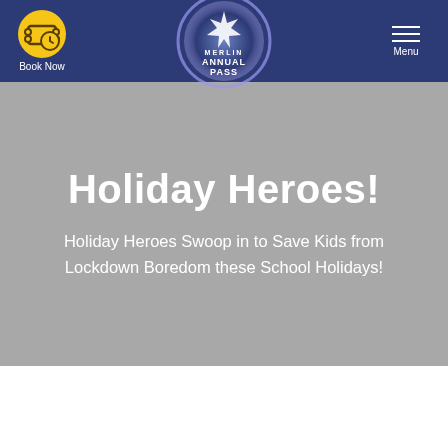Book Now | Merlin Annual Pass | Menu
Holiday Heroes!
Holiday Heroes Swoop in to Save Kids from Lockdown Boredom these School Holidays!